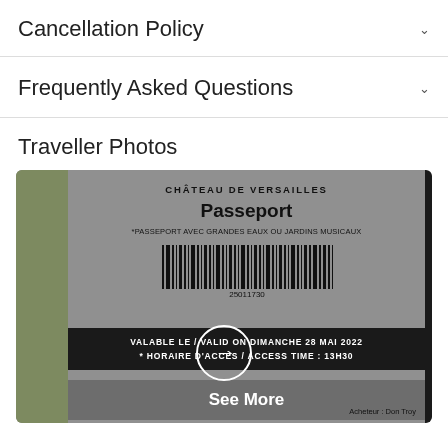Cancellation Policy
Frequently Asked Questions
Traveller Photos
[Figure (photo): A photo of a Château de Versailles Passeport ticket showing: title 'CHÂTEAU DE VERSAILLES', subtitle 'Passeport', text '*PASSEPORT AVEC GRANDES EAUX OU JARDINS MUSICAUX', a barcode with number 25011730, a black band with 'VALABLE LE / VALID ON DIMANCHE 28 MAI 2022' and '* HORAIRE D'ACCÈS / ACCESS TIME : 13H30', a circular arrow overlay button, a 'See More' overlay, and 'Acheteur : Don Troy' at the bottom right.]